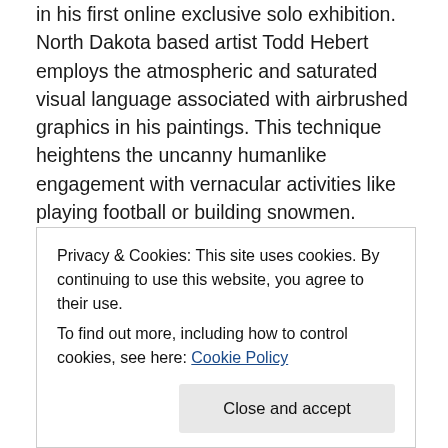in his first online exclusive solo exhibition. North Dakota based artist Todd Hebert employs the atmospheric and saturated visual language associated with airbrushed graphics in his paintings. This technique heightens the uncanny humanlike engagement with vernacular activities like playing football or building snowmen.
Hebert's work is an American lexicon: scarecrows, picnic coolers, snowmen, ceramic owls, and satellite dishes. The images are mysteriously odd – a kind of suburban symbolism meets the allegories of the seasons (and it is definitely not Hallmark in sensibility). The artist plays off
Privacy & Cookies: This site uses cookies. By continuing to use this website, you agree to their use.
To find out more, including how to control cookies, see here: Cookie Policy
minimal narratives on the passing of time.